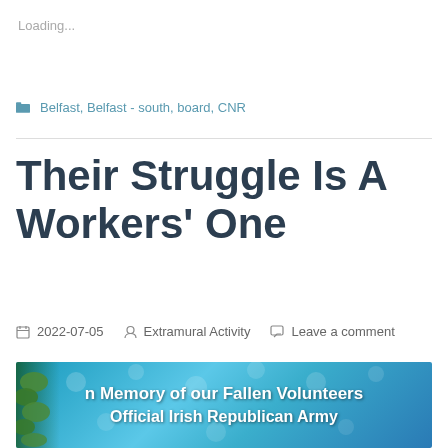Loading...
Belfast, Belfast - south, board, CNR
Their Struggle Is A Workers' One
2022-07-05  Extramural Activity  Leave a comment
[Figure (photo): Banner reading 'In Memory of our Fallen Volunteers Official Irish Republican Army' with blue star-patterned background and green foliage on the left edge]